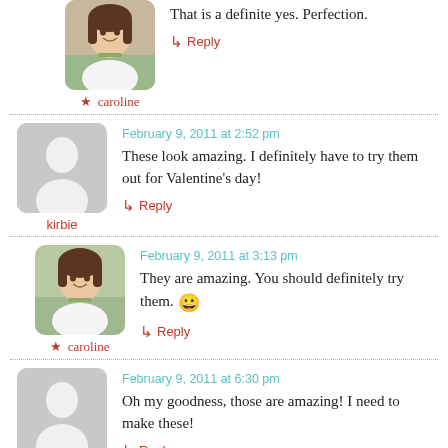That is a definite yes. Perfection.
↳ Reply
★ caroline
February 9, 2011 at 2:52 pm
These look amazing. I definitely have to try them out for Valentine's day!
↳ Reply
kirbie
February 9, 2011 at 3:13 pm
They are amazing. You should definitely try them. 😀
↳ Reply
★ caroline
February 9, 2011 at 6:30 pm
Oh my goodness, those are amazing! I need to make these!
↳ Reply
Lindsay